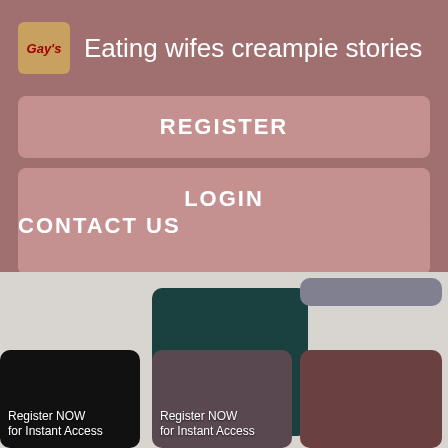Eating wifes creampie stories
REGISTER
LOGIN
CONTACT US
[Figure (screenshot): Thumbnail image with text 'Register NOW for Instant Access']
[Figure (screenshot): Dark thumbnail with text 'Register NOW for Instant Access']
[Figure (screenshot): Partial thumbnail at top right]
[Figure (screenshot): Thumbnail with text 'Register NOW for Instant Access']
[Figure (screenshot): Partial thumbnail bottom right]